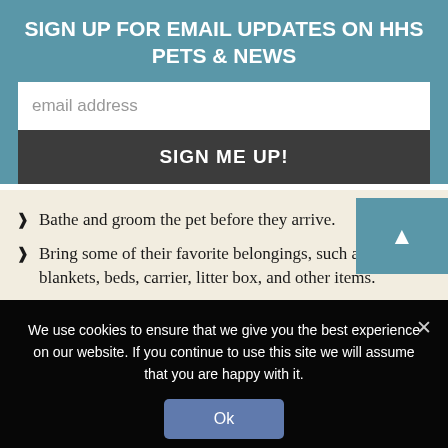SIGN UP FOR EMAIL UPDATES ON HHS PETS & NEWS
email address
SIGN ME UP!
Bathe and groom the pet before they arrive.
Bring some of their favorite belongings, such as toys, blankets, beds, carrier, litter box, and other items.
Heritage Humane Society does not provide community euthanasia services. If your pet needs to be put to sleep, please contact your veterinarian. If you do not have a veterinarian, please refer to the phone book or contact
We use cookies to ensure that we give you the best experience on our website. If you continue to use this site we will assume that you are happy with it.
Ok